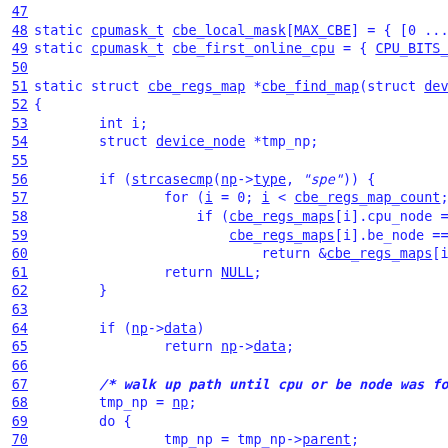[Figure (screenshot): Source code listing showing C code lines 47-71 with line numbers hyperlinked on the left. Code includes static variable declarations, a function definition for cbe_find_map, and logic with for loops, if statements, and comments. Text is blue monospace font on white background with hyperlinks underlined.]